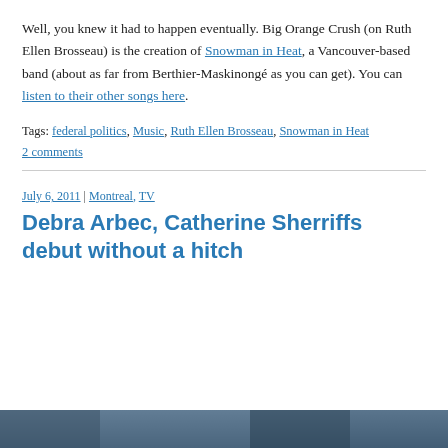Well, you knew it had to happen eventually. Big Orange Crush (on Ruth Ellen Brosseau) is the creation of Snowman in Heat, a Vancouver-based band (about as far from Berthier-Maskinongé as you can get). You can listen to their other songs here.
Tags: federal politics, Music, Ruth Ellen Brosseau, Snowman in Heat
2 comments
July 6, 2011 | Montreal, TV
Debra Arbec, Catherine Sherriffs debut without a hitch
[Figure (photo): Partial photo visible at bottom of page, appears to be a news broadcast or event scene with blue/dark tones]